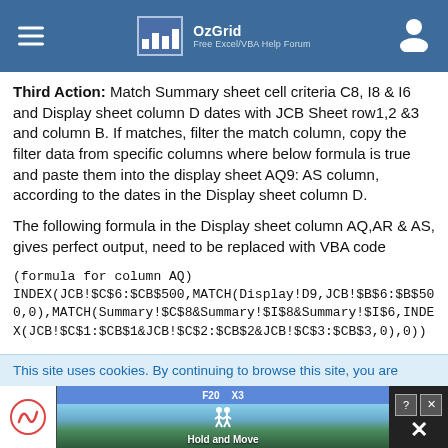OzGrid — Free Excel/VBA Help Forum
Third Action: Match Summary sheet cell criteria C8, I8 & I6 and Display sheet column D dates with JCB Sheet row1,2 &3 and column B. If matches, filter the match column, copy the filter data from specific columns where below formula is true and paste them into the display sheet AQ9: AS column, according to the dates in the Display sheet column D.
The following formula in the Display sheet column AQ,AR & AS, gives perfect output, need to be replaced with VBA code
(formula for column AQ)
INDEX(JCB!$C$6:$CB$500,MATCH(Display!D9,JCB!$B$6:$B$500,0),MATCH(Summary!$C$8&Summary!$I$8&Summary!$I$6,INDEX(JCB!$C$1:$CB$1&JCB!$C$2:$CB$2&JCB!$C$3:$CB$3,0),0))
This site uses cookies. By continuing to browse this site, you are